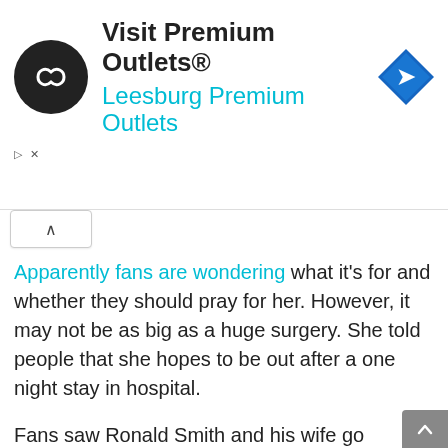[Figure (infographic): Advertisement banner for Visit Premium Outlets® / Leesburg Premium Outlets with a circular black logo with infinity-like symbol, navigation/directions icon (blue diamond with white arrow), ad controls (play and close buttons).]
Apparently fans are wondering what it's for and whether they should pray for her. However, it may not be as big as a huge surgery. She told people that she hopes to be out after a one night stay in hospital.
Fans saw Ronald Smith and his wife go through another public spat on social media. It took place at the end of May during the show. In this episode, the woman made all sorts of accusations about Ronald Smith. In fact, she talked about how her husband seems to be unreasonable in expecting her to move